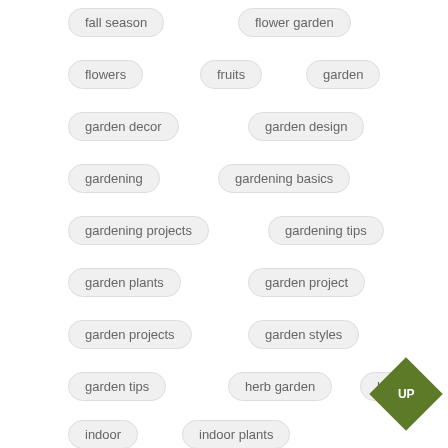fall season
flower garden
flowers
fruits
garden
garden decor
garden design
gardening
gardening basics
gardening projects
gardening tips
garden plants
garden project
garden projects
garden styles
garden tips
herb garden
herbs
indoor
indoor plants
landscaping
lawn
organic garden
outdoor
outdoor plants
pests
planting